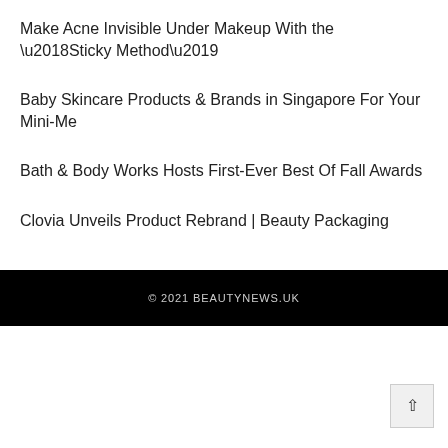Make Acne Invisible Under Makeup With the ‘Sticky Method’
Baby Skincare Products & Brands in Singapore For Your Mini-Me
Bath & Body Works Hosts First-Ever Best Of Fall Awards
Clovia Unveils Product Rebrand | Beauty Packaging
© 2021 BEAUTYNEWS.UK